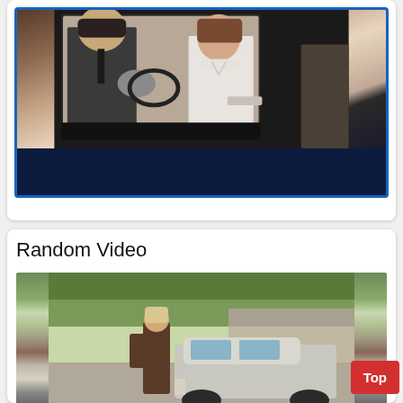[Figure (photo): Two people (a man in a suit and a woman with a pearl necklace in white) looking out from inside a vintage car window, with a dark blue bar at the bottom of the image.]
Random Video
[Figure (photo): A person standing next to a light-colored vintage car in front of a building, with trees in the background.]